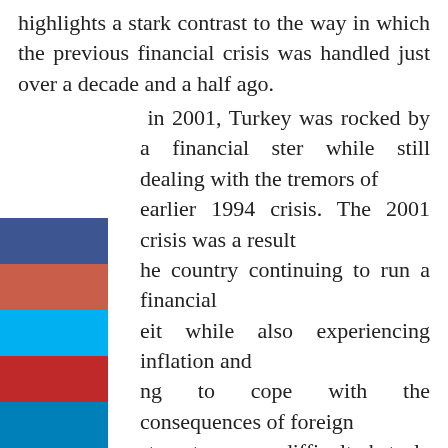highlights a stark contrast to the way in which the previous financial crisis was handled just over a decade and a half ago. in 2001, Turkey was rocked by a financial ster while still dealing with the tremors of earlier 1994 crisis. The 2001 crisis was a result he country continuing to run a financial eit while also experiencing inflation and ng to cope with the consequences of foreign stment – a very difficult obstacle considering the country was dependent on foreign stment. Add to the equation instability within the coalition government and you have a toxic mix that made an economic meltdown all b
[Figure (illustration): Five colored rectangles stacked vertically on left side: dark blue, terracotta/red-brown, bright cyan, dark red, and dark blue.]